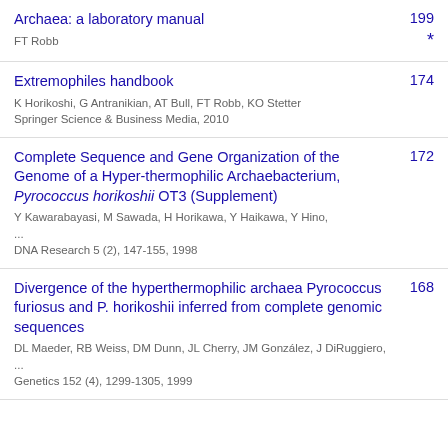Archaea: a laboratory manual — FT Robb — 199 *
Extremophiles handbook — K Horikoshi, G Antranikian, AT Bull, FT Robb, KO Stetter, Springer Science & Business Media, 2010 — 174
Complete Sequence and Gene Organization of the Genome of a Hyper-thermophilic Archaebacterium, Pyrococcus horikoshii OT3 (Supplement) — Y Kawarabayasi, M Sawada, H Horikawa, Y Haikawa, Y Hino, ... DNA Research 5 (2), 147-155, 1998 — 172
Divergence of the hyperthermophilic archaea Pyrococcus furiosus and P. horikoshii inferred from complete genomic sequences — DL Maeder, RB Weiss, DM Dunn, JL Cherry, JM González, J DiRuggiero, ... Genetics 152 (4), 1299-1305, 1999 — 168